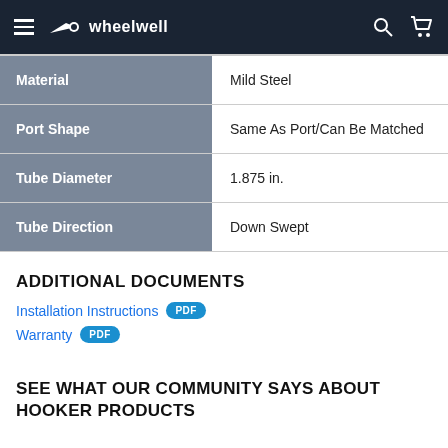wheelwell
| Property | Value |
| --- | --- |
| Material | Mild Steel |
| Port Shape | Same As Port/Can Be Matched |
| Tube Diameter | 1.875 in. |
| Tube Direction | Down Swept |
ADDITIONAL DOCUMENTS
Installation Instructions PDF
Warranty PDF
SEE WHAT OUR COMMUNITY SAYS ABOUT HOOKER PRODUCTS